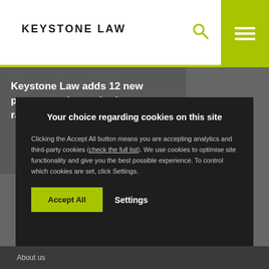KEYSTONE LAW
Keystone Law adds 12 new partners to its senior lawyer ranks
Your choice regarding cookies on this site
Clicking the Accept All button means you are accepting analytics and third-party cookies (check the full list). We use cookies to optimise site functionality and give you the best possible experience. To control which cookies are set, click Settings.
Accept All
Settings
About us